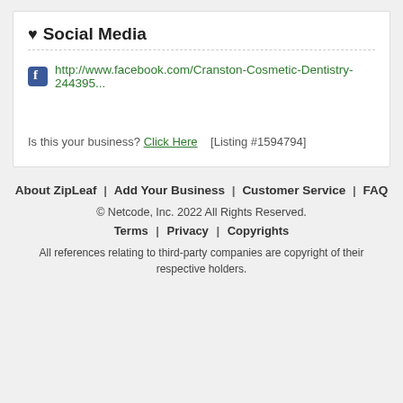♥ Social Media
http://www.facebook.com/Cranston-Cosmetic-Dentistry-244395...
Is this your business? Click Here   [Listing #1594794]
About ZipLeaf | Add Your Business | Customer Service | FAQ
© Netcode, Inc. 2022 All Rights Reserved.
Terms | Privacy | Copyrights
All references relating to third-party companies are copyright of their respective holders.